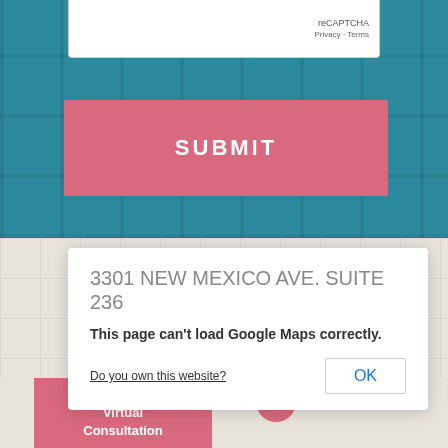reCAPTCHA
Privacy · Terms
SUBMIT
3301 NEW MEXICO AVE. SUITE 236
This page can't load Google Maps correctly.
Do you own this website?
OK
Request A Virtual Consultation